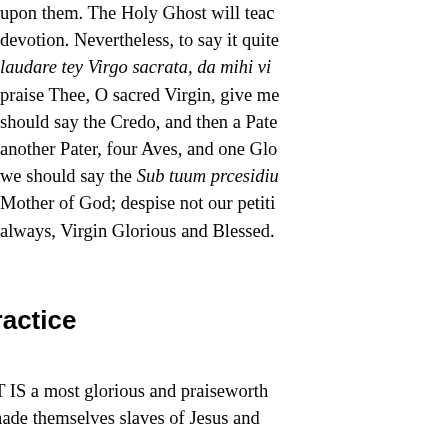upon them. The Holy Ghost will teach devotion. Nevertheless, to say it quite: laudare tey Virgo sacrata, da mihi vir: praise Thee, O sacred Virgin, give me: should say the Credo, and then a Pate: another Pater, four Aves, and one Glo: we should say the Sub tuum prcesidi: Mother of God; despise not our petiti: always, Virgin Glorious and Blessed.
Third Practice
236. IT IS a most glorious and praiseworthy made themselves slaves of Jesus and loving slavery, little iron chains, bless
It is perfectly true that these external badge embraced this devotion may very well go w warmly praising those who, after having sh the devil, in which original sin, and perhaps